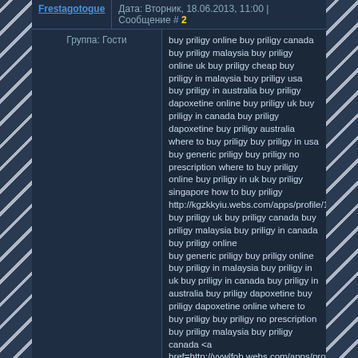Frestagotogue | Дата: Вторник, 18.06.2013, 11:00 | Сообщение # 2
Группа: Гости
buy priligy online buy priligy canada buy priligy malaysia buy priligy online uk buy priligy cheap buy priligy in malaysia buy priligy usa buy priligy in australia buy priligy dapoxetine online buy priligy uk buy priligy in canada buy priligy dapoxetine buy priligy australia where to buy priligy buy priligy in usa buy generic priligy buy priligy no prescription where to buy priligy online buy priligy in uk buy priligy singapore how to buy priligy http://kgzkkyiu.webs.com/apps/profile/112204207/ buy priligy uk buy priligy canada buy priligy malaysia buy priligy in canada buy priligy online
buy generic priligy buy priligy online buy priligy in malaysia buy priligy in uk buy priligy in canada buy priligy in australia buy priligy dapoxetine buy priligy dapoxetine online where to buy priligy buy priligy no prescription buy priligy malaysia buy priligy canada <a href=http://vywlfob.webs.com/apps/profile/112204207/>where to buy priligy online </a> buy priligy online uk buy priligy in australia buy priligy no prescription buy priligy in canada buy priligy singapore buy priligy usa buy priligy dapoxetine online buy priligy canada where to buy priligy buy priligy dapoxetine how to buy priligy buy priligy malaysia buy priligy uk buy priligy online buy priligy in malaysia
buy priligy in malaysia buy priligy malaysia where to buy priligy online buy priligy australia buy priligy dapoxetine buy priligy singapore buy priligy online buy generic priligy buy priligy canada buy priligy in australia buy priligy in uk buy priligy no prescription <a href=http://zhwcyxv.webs.com/apps/profile/112204207/>how to buy priligy </a> buy priligy singapore buy generic priligy buy priligy dapoxetine buy priligy in malaysia buy priligy canada buy priligy in canada buy priligy in uk buy priligy usa how to buy priligy buy priligy online uk buy priligy cheap buy priligy online where to buy priligy buy priligy in australia buy priligy in usa
buy priligy canada buy priligy in uk buy priligy usa buy priligy